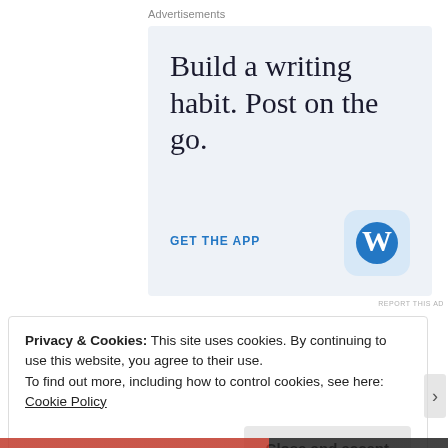Advertisements
[Figure (other): WordPress app advertisement with large serif text 'Build a writing habit. Post on the go.' and a 'GET THE APP' call-to-action link alongside the WordPress logo icon, on a light blue-grey background.]
REPORT THIS AD
Privacy & Cookies: This site uses cookies. By continuing to use this website, you agree to their use.
To find out more, including how to control cookies, see here: Cookie Policy
Close and accept